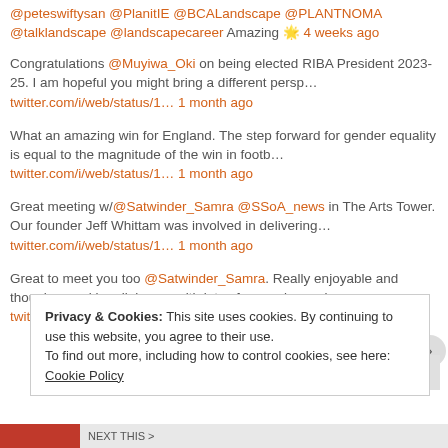@peteswiftysan @PlanitIE @BCALandscape @PLANTNOMA @talklandscape @landscapecareer Amazing 🌟 4 weeks ago
Congratulations @Muyiwa_Oki on being elected RIBA President 2023-25. I am hopeful you might bring a different persp… twitter.com/i/web/status/1… 1 month ago
What an amazing win for England. The step forward for gender equality is equal to the magnitude of the win in footb… twitter.com/i/web/status/1… 1 month ago
Great meeting w/@Satwinder_Samra @SSoA_news in The Arts Tower. Our founder Jeff Whittam was involved in delivering… twitter.com/i/web/status/1… 1 month ago
Great to meet you too @Satwinder_Samra. Really enjoyable and though provoking dialogue, with lots of synergies and… twitter.com/i/web/status/1… 1 month ago
Privacy & Cookies: This site uses cookies. By continuing to use this website, you agree to their use. To find out more, including how to control cookies, see here: Cookie Policy
Close and accept